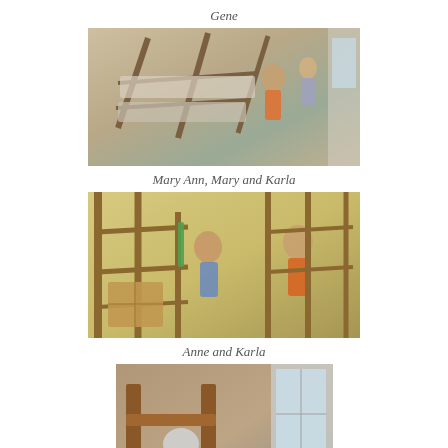Gene
[Figure (photo): People assembling or moving bunk beds in a room, viewed from above]
Mary Ann, Mary and Karla
[Figure (photo): Two people working on scaffolding or a bunk bed frame in a yellow-walled room]
Anne and Karla
[Figure (photo): Person crouched near a bunk bed frame next to a window]
Stel and Jodi